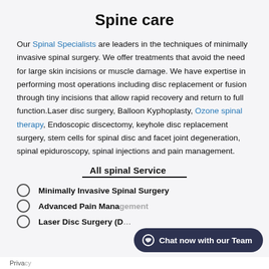Spine care
Our Spinal Specialists are leaders in the techniques of minimally invasive spinal surgery. We offer treatments that avoid the need for large skin incisions or muscle damage. We have expertise in performing most operations including disc replacement or fusion through tiny incisions that allow rapid recovery and return to full function.Laser disc surgery, Balloon Kyphoplasty, Ozone spinal therapy, Endoscopic discectomy, keyhole disc replacement surgery, stem cells for spinal disc and facet joint degeneration, spinal epiduroscopy, spinal injections and pain management.
All spinal Service
Minimally Invasive Spinal Surgery
Advanced Pain Management
Laser Disc Surgery (D…